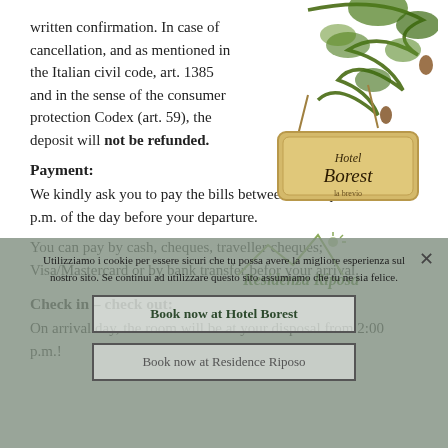written confirmation. In case of cancellation, and as mentioned in the Italian civil code, art. 1385 and in the sense of the consumer protection Codex (art. 59), the deposit will not be refunded.
[Figure (logo): Hotel Borest logo: a wooden sign hanging from a pine tree branch with pinecones]
Payment:
We kindly ask you to pay the bills between 02:00 p.m. and 8:00 p.m. of the day before your departure.
[Figure (logo): Residenza Riposa handwritten logo in green cursive with mountain illustration]
You can pay by cash, cheques, traveller cheques; Visa/Mastercard or by bank transfer befor your arrival.
Check in – check out:
On arrival day, the room will be at your disposal from 2:00 p.m.!
Utilizziamo i cookie per essere sicuri che tu possa avere la migliore esperienza sul nostro sito. Se continui ad utilizzare questo sito assumiamo che tu ne sia felice.
Book now at Hotel Borest
Book now at Residence Riposo